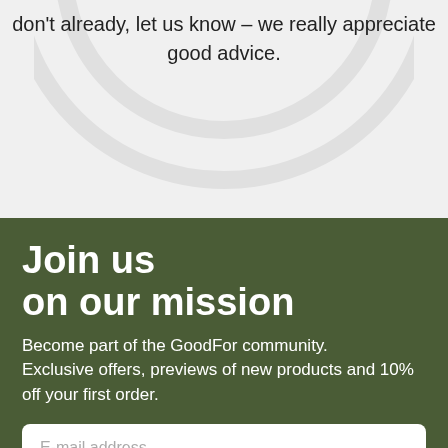don't already, let us know – we really appreciate good advice.
Join us on our mission
Become part of the GoodFor community. Exclusive offers, previews of new products and 10% off your first order.
E-mail address
Sign up